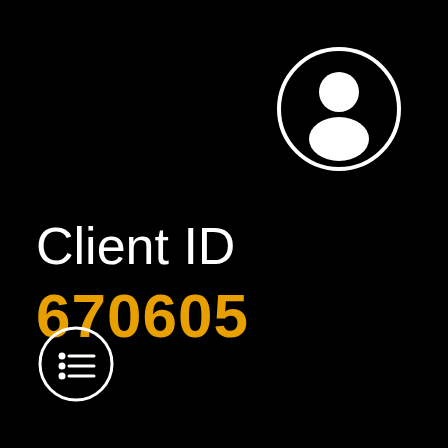[Figure (illustration): White circle with a user/person silhouette icon inside, positioned in the upper right area of a black background]
Client ID
670605
[Figure (illustration): White circle outline with a small menu/list icon (three lines with dots) inside, positioned in the lower left corner]